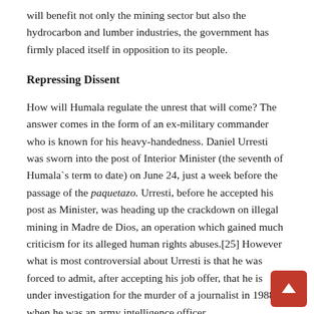will benefit not only the mining sector but also the hydrocarbon and lumber industries, the government has firmly placed itself in opposition to its people.
Repressing Dissent
How will Humala regulate the unrest that will come? The answer comes in the form of an ex-military commander who is known for his heavy-handedness. Daniel Urresti was sworn into the post of Interior Minister (the seventh of Humala`s term to date) on June 24, just a week before the passage of the paquetazo. Urresti, before he accepted his post as Minister, was heading up the crackdown on illegal mining in Madre de Dios, an operation which gained much criticism for its alleged human rights abuses.[25] However what is most controversial about Urresti is that he was forced to admit, after accepting his job offer, that he is under investigation for the murder of a journalist in 1988 when he was an army intelligence officer,